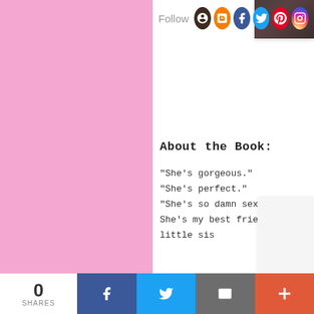[Figure (other): Pink panel background on left side of page]
Follow
[Figure (other): Social media icons: Goodreads, Blogger, Facebook, Twitter, Pinterest, Instagram]
About the Book:
"She's gorgeous."
"She's perfect."
"She's so damn sexy."
She's my best friend's little sis
0 SHARES | Facebook | Twitter | Email | More